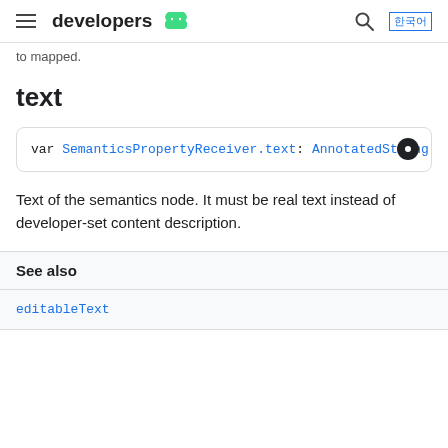developers
to mapped.
text
var SemanticsPropertyReceiver.text: AnnotatedString
Text of the semantics node. It must be real text instead of developer-set content description.
See also
editableText